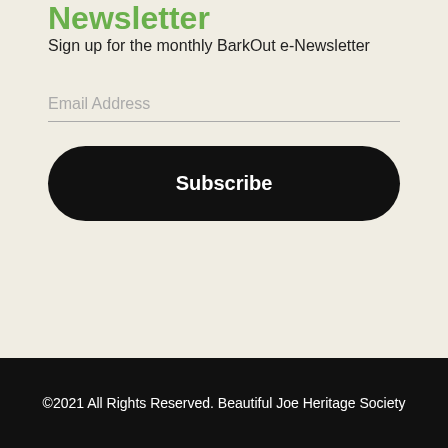Newsletter
Sign up for the monthly BarkOut e-Newsletter
Email Address
Subscribe
©2021 All Rights Reserved. Beautiful Joe Heritage Society